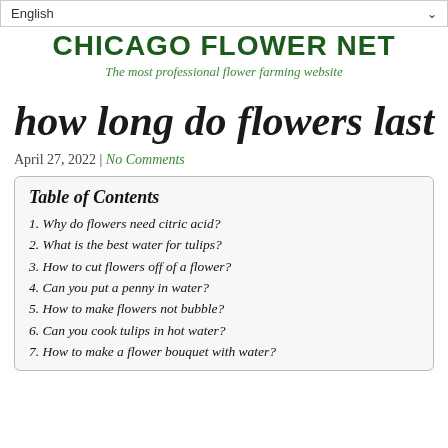English
CHICAGO FLOWER NET
The most professional flower farming website
how long do flowers last
April 27, 2022 | No Comments
Table of Contents
1. Why do flowers need citric acid?
2. What is the best water for tulips?
3. How to cut flowers off of a flower?
4. Can you put a penny in water?
5. How to make flowers not bubble?
6. Can you cook tulips in hot water?
7. How to make a flower bouquet with water?